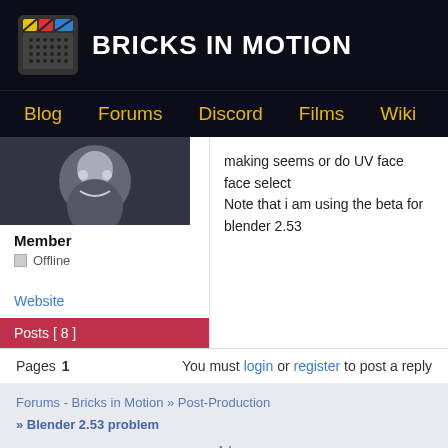BRICKS IN MOTION
Blog
Forums
Discord
Films
Wiki
making seems or do UV face face select
Note that i am using the beta for blender 2.53
Member
Offline
Website
Posts [ 8 ]
Pages 1  You must login or register to post a reply
Forums - Bricks in Motion » Post-Production
» Blender 2.53 problem
Ad
Ad